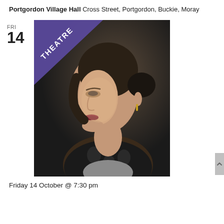Portgordon Village Hall Cross Street, Portgordon, Buckie, Moray
FRI
14
[Figure (photo): Profile portrait of a woman with dark hair in a bun, wearing a black floral jacket and grey top with a pendant necklace and gold earring, looking to the left against a dark background. A purple 'THEATRE' banner is overlaid in the top-left corner of the image.]
Friday 14 October @ 7:30 pm